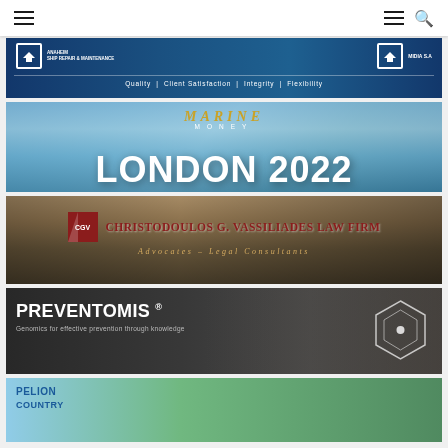Navigation bar with hamburger menu and search icon
[Figure (advertisement): Ship Repair & Maintenance / MIDIA S.A. banner with tagline: Quality | Client Satisfaction | Integrity | Flexibility. Dark blue background.]
[Figure (advertisement): Marine Money London 2022 banner. London Eye background, gold MARINE MONEY logo text, large white LONDON 2022 text.]
[Figure (advertisement): Christodoulos G. Vassiliades Law Firm banner. CGV logo, red firm name, Advocates - Legal Consultants subtitle, Acropolis background.]
[Figure (advertisement): PREVENTOMIS® banner. Dark background with two people. Text: Genomics for effective prevention through knowledge. Hexagon graphic.]
[Figure (advertisement): PELION COUNTRY banner (partial). Landscape background, blue text.]